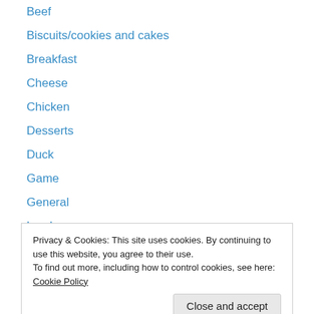Beef
Biscuits/cookies and cakes
Breakfast
Cheese
Chicken
Desserts
Duck
Game
General
Lamb
Life in Dordogne
Pasta
Pork
Privacy & Cookies: This site uses cookies. By continuing to use this website, you agree to their use.
To find out more, including how to control cookies, see here: Cookie Policy
Soup